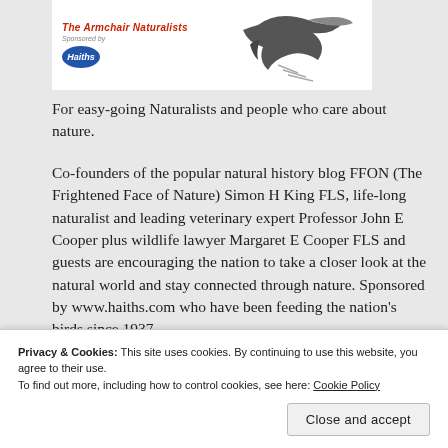[Figure (logo): The Armchair Naturalists logo with bird illustration and Haiths sponsored oval logo]
For easy-going Naturalists and people who care about nature.
Co-founders of the popular natural history blog FFON (The Frightened Face of Nature) Simon H King FLS, life-long naturalist and leading veterinary expert Professor John E Cooper plus wildlife lawyer Margaret E Cooper FLS and guests are encouraging the nation to take a closer look at the natural world and stay connected through nature. Sponsored by www.haiths.com who have been feeding the nation's birds since 1937.
The Frightened Face of Nature (FFON)
Listen on Apple Podcasts
Privacy & Cookies: This site uses cookies. By continuing to use this website, you agree to their use.
To find out more, including how to control cookies, see here: Cookie Policy
Close and accept